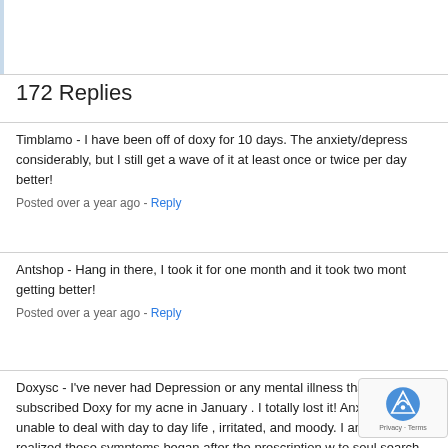172 Replies
Timblamo - I have been off of doxy for 10 days. The anxiety/depress considerably, but I still get a wave of it at least once or twice per day better!
Posted over a year ago - Reply
Antshop - Hang in there, I took it for one month and it took two mont getting better!
Posted over a year ago - Reply
Doxysc - I've never had Depression or any mental illness that is the subscribed Doxy for my acne in January . I totally lost it! Anxiety, pa unable to deal with day to day life , irritated, and moody. I am a biol I realized these symptoms began after the prescription w to soul search this thru. I dream of becoming a psychiatr the idea that maybe one day I would be the patient sitting on the co